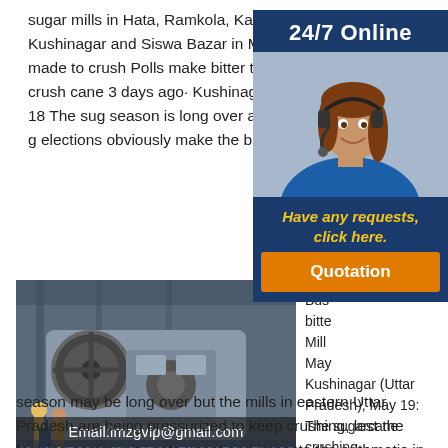sugar mills in Hata, Ramkola, Kaptanganj and Khadda in Kushinagar and Siswa Bazar in Maharajganj are being made to crush Polls make bitter turn sweet: Mills forced to crush cane 3 days ago· Kushinagar (Uttar Pradesh), May 18 The sugar season is long over and the remaining crop has gone elections obviously make the bitter sound sweet, mills
[Figure (photo): 24/7 Online advertisement with woman wearing headset, with 'Have any requests, click here.' text and orange 'Quotation' button]
[Figure (photo): Industrial sugar mill machinery in a factory setting with workers. Overlay text: Email:lmzgvip@gmail.com]
Business bitter Mills May Kushinagar (Uttar Pradesh), May 19: The sugarcane crushing
season may be long over but the mills in eastern Uttar Pradesh are being pressurized to keep crushing, lest the farming community gets upset and impacts the arithmetic in the polling that takes place